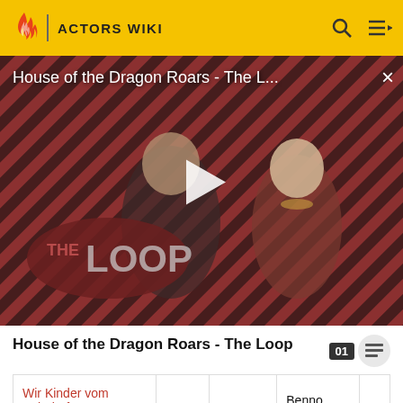ACTORS WIKI
[Figure (screenshot): Video thumbnail showing House of the Dragon characters with diagonal stripe pattern background and THE LOOP logo overlay, with a play button in the center]
House of the Dragon Roars - The L...
×
House of the Dragon Roars - The Loop
|  |  |  | Benno |  |
| --- | --- | --- | --- | --- |
| Wir Kinder vom Bahnhof Zoo |  |  | Benno |  |
Theatre